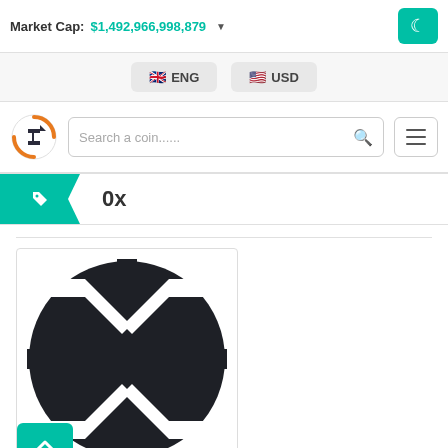Market Cap: $1,492,966,998,879
ENG  USD
[Figure (logo): Cryptocurrency exchange rate website logo - circular orange and white icon with stylized arrow]
Search a coin......
0x
[Figure (logo): 0x protocol logo - dark circle with white X-shaped cutout symbol]